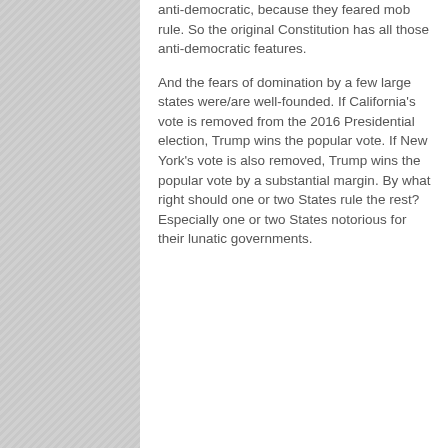anti-democratic, because they feared mob rule. So the original Constitution has all those anti-democratic features.
And the fears of domination by a few large states were/are well-founded. If California's vote is removed from the 2016 Presidential election, Trump wins the popular vote. If New York's vote is also removed, Trump wins the popular vote by a substantial margin. By what right should one or two States rule the rest? Especially one or two States notorious for their lunatic governments.